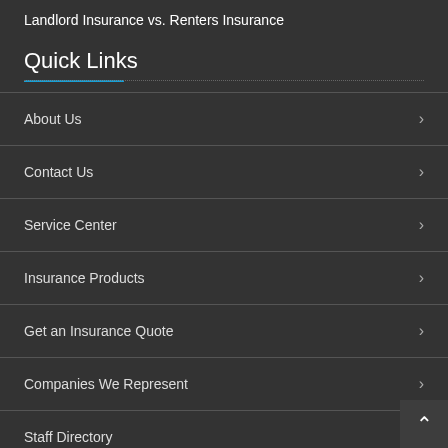Landlord Insurance vs. Renters Insurance
Quick Links
About Us
Contact Us
Service Center
Insurance Products
Get an Insurance Quote
Companies We Represent
Staff Directory